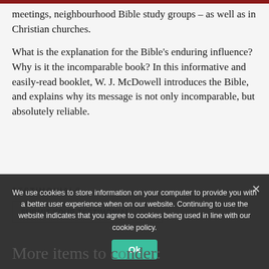meetings, neighbourhood Bible study groups – as well as in Christian churches.
What is the explanation for the Bible's enduring influence? Why is it the incomparable book? In this informative and easily-read booklet, W. J. McDowell introduces the Bible, and explains why its message is not only incomparable, but absolutely reliable.
TESTIMONIALS
SUBMIT YOUR TESTIMONIAL
We use cookies to store information on your computer to provide you with a better user experience when on our website. Continuing to use the website indicates that you agree to cookies being used in line with our cookie policy.
More items to consider: